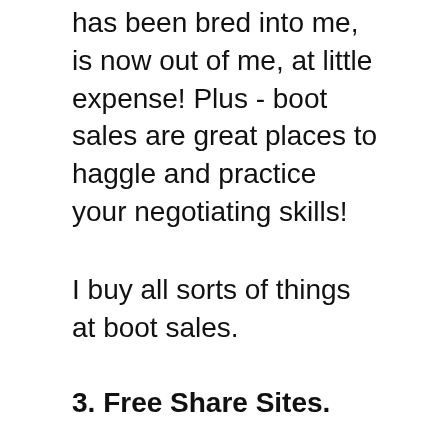has been bred into me, is now out of me, at little expense! Plus - boot sales are great places to haggle and practice your negotiating skills!
I buy all sorts of things at boot sales.
3. Free Share Sites.
These are great for obtaining anything from a light bulb to household essentials like TVs, Desks, Tables, Chairs, Beds and even flooring - all for FREE!
I've picked up some great items from Free Share Sites. Here's a couple you may wish